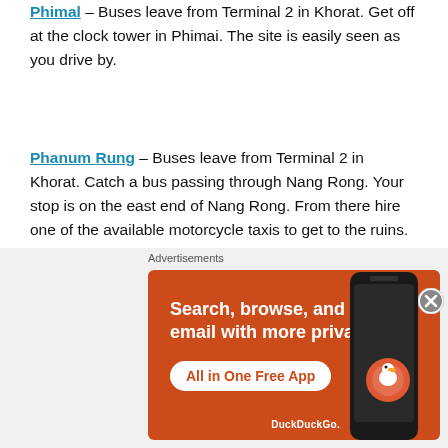Phimal – Buses leave from Terminal 2 in Khorat. Get off at the clock tower in Phimai. The site is easily seen as you drive by.
Phanum Rung – Buses leave from Terminal 2 in Khorat. Catch a bus passing through Nang Rong. Your stop is on the east end of Nang Rong. From there hire one of the available motorcycle taxis to get to the ruins. The motorcycle taxi fee is 250 Baht return and includes a visit to Prasat Muang. Only one passenger per motorcycle.
Prasat Muang Tam – While in Phanum Rung have your motorcycle taxi wait for you and then take you the 8 km to
[Figure (infographic): DuckDuckGo advertisement banner with orange background, text 'Search, browse, and email with more privacy. All in One Free App', phone image on right, DuckDuckGo logo at bottom right.]